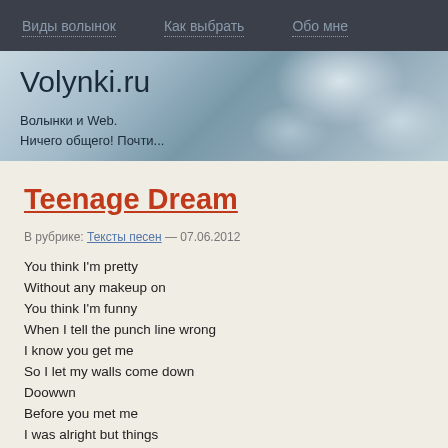Виды волынок   Как выбрать   Обо мне
Volynki.ru
Волынки и Web.
Ничего общего! Почти...
Teenage Dream
В рубрике: Тексты песен — 07.06.2012
You think I'm pretty
Without any makeup on
You think I'm funny
When I tell the punch line wrong
I know you get me
So I let my walls come down
Doowwn
Before you met me
I was alright but things
Were kinda heavy